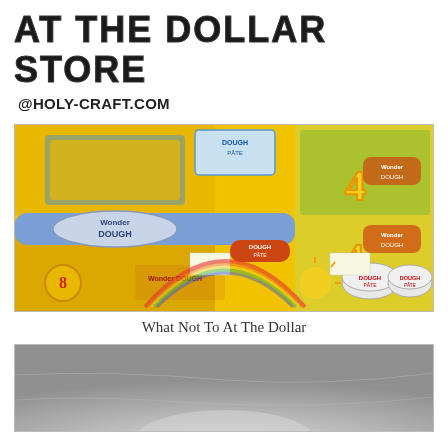AT THE DOLLAR STORE
@HOLY-CRAFT.COM
[Figure (photo): Store shelf display stacked with colorful yellow and blue packages of 'Wonder Dough' / 'Dough Pâte' play dough products for children, showing various pack sizes including 4-pack and 8-pack sets]
What Not To At The Dollar
[Figure (photo): Close-up photo of a gray/silver surface, partially visible, appears to be the bottom portion of the page]